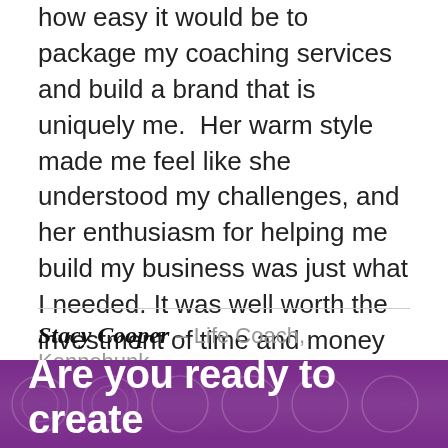how easy it would be to package my coaching services and build a brand that is uniquely me. Her warm style made me feel like she understood my challenges, and her enthusiasm for helping me build my business was just what I needed. It was well worth the investment of time and money to gain some of Lauren's expertise and learn from her experience.
Stacy Cooper - Life Coach, Kennebunk, Maine, USA
Are you ready to create